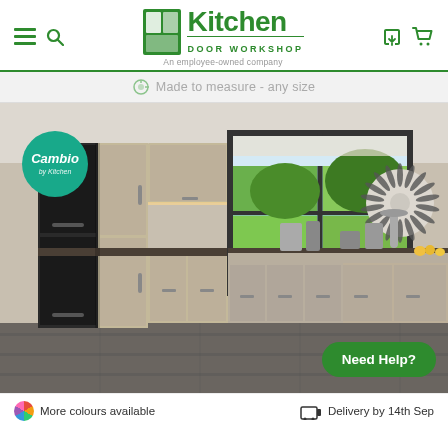[Figure (logo): Kitchen Door Workshop logo with green icon, bold Kitchen text, DOOR WORKSHOP subtitle, and 'An employee-owned company' tagline. Navigation icons: hamburger menu, search, phone, cart.]
Made to measure - any size
[Figure (photo): Modern kitchen interior showing handleless cabinetry in warm beige/greige finish with dark countertops, built-in black appliances, large window with garden view, decorative sunburst wall art. Cambio by Kitchen badge overlay. Need Help? button.]
More colours available
Delivery by 14th Sep